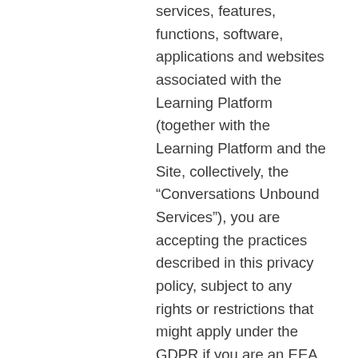services, features, functions, software, applications and websites associated with the Learning Platform (together with the Learning Platform and the Site, collectively, the “Conversations Unbound Services”), you are accepting the practices described in this privacy policy, subject to any rights or restrictions that might apply under the GDPR if you are an EEA Individual, including the rights described in the European Privacy Rights for EEA Individuals provisions below. Our Terms of Service located at www.conversationsunbound.org/terms govern your use of the Learning Platform and the other Conversations Unbound Services (as modified, the “Terms”).  Capitalized terms that are not